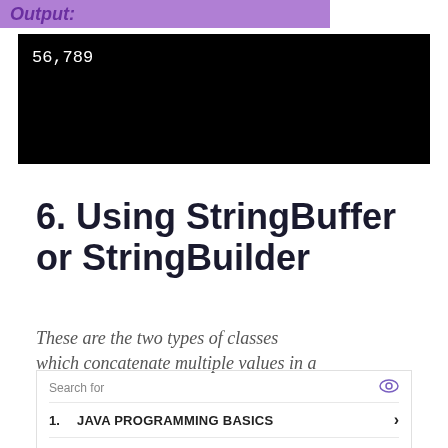Output:
[Figure (screenshot): Black terminal/console output block showing the text '56,789' in white monospace font on black background]
6. Using StringBuffer or StringBuilder
These are the two types of classes which concatenate multiple values in a
Search for
1. JAVA PROGRAMMING BASICS
2. BEGINNER JAVA TUTORIALS